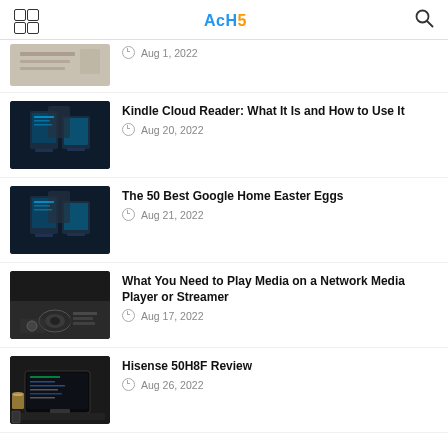AcHs
Aug 1, 2022
Kindle Cloud Reader: What It Is and How to Use It
Aug 20, 2022
The 50 Best Google Home Easter Eggs
Aug 21, 2022
What You Need to Play Media on a Network Media Player or Streamer
Aug 17, 2022
Hisense 50H8F Review
Aug 26, 2022